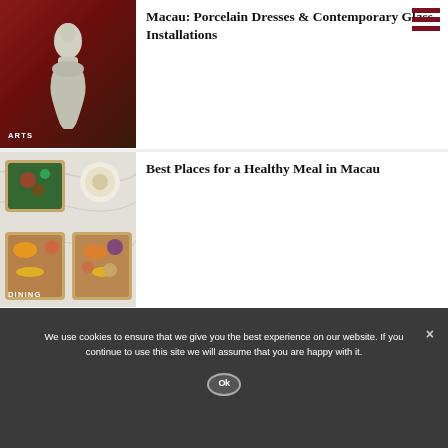[Figure (photo): Silver sculptural dress/figure against red curtain background with ARTS label badge]
Macau: Porcelain Dresses & Contemporary Glass Installations
[Figure (photo): Three wooden trays with healthy salads and grain bowls on marble surface with DINING label badge]
Best Places for a Healthy Meal in Macau
We use cookies to ensure that we give you the best experience on our website. If you continue to use this site we will assume that you are happy with it.